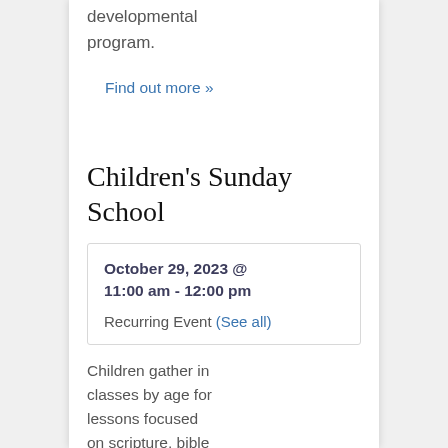developmental program.
Find out more »
Children's Sunday School
| October 29, 2023 @ 11:00 am - 12:00 pm |
| Recurring Event (See all) |
Children gather in classes by age for lessons focused on scripture, bible stories, characters, and faith formation. Under the care of